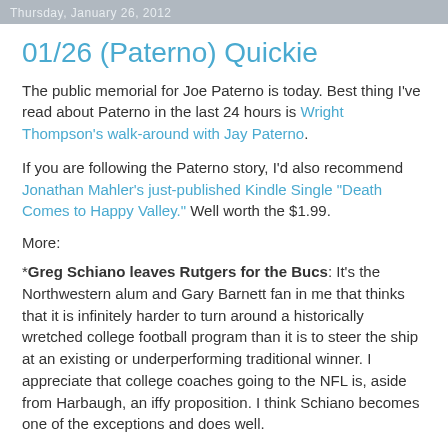Thursday, January 26, 2012
01/26 (Paterno) Quickie
The public memorial for Joe Paterno is today. Best thing I've read about Paterno in the last 24 hours is Wright Thompson's walk-around with Jay Paterno.
If you are following the Paterno story, I'd also recommend Jonathan Mahler's just-published Kindle Single "Death Comes to Happy Valley." Well worth the $1.99.
More:
*Greg Schiano leaves Rutgers for the Bucs: It's the Northwestern alum and Gary Barnett fan in me that thinks that it is infinitely harder to turn around a historically wretched college football program than it is to steer the ship at an existing or underperforming traditional winner. I appreciate that college coaches going to the NFL is, aside from Harbaugh, an iffy proposition. I think Schiano becomes one of the exceptions and does well.